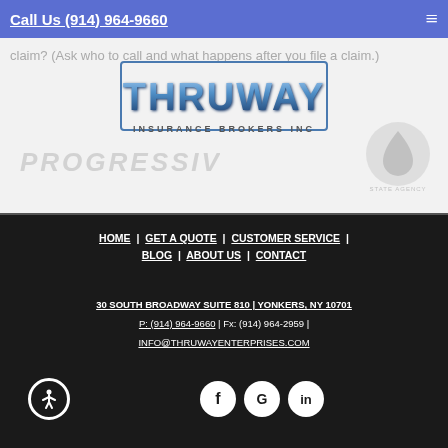Call Us (914) 964-9660
claim? (Ask who to call and what happens after you file a claim.)
[Figure (logo): Thruway Insurance Brokers Inc logo with metallic blue 3D lettering]
[Figure (logo): Progressive logo in faded gray italic text]
[Figure (logo): State Agency shield/drop logo faded on right side]
HOME | GET A QUOTE | CUSTOMER SERVICE | BLOG | ABOUT US | CONTACT
30 SOUTH BROADWAY SUITE 810 | YONKERS, NY 10701
P: (914) 964-9660 | Fx: (914) 964-2959 |
INFO@THRUWAYENTERPRISES.COM
[Figure (other): Accessibility icon circle, Facebook icon, Google icon, LinkedIn icon social media buttons]